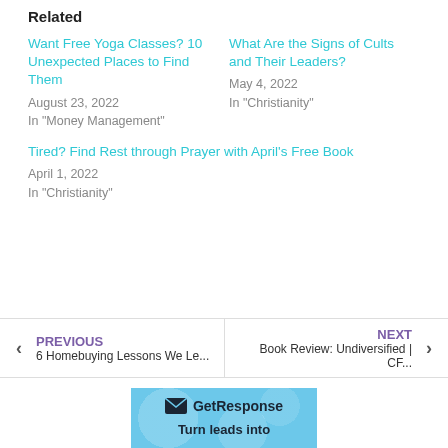Related
Want Free Yoga Classes? 10 Unexpected Places to Find Them
August 23, 2022
In "Money Management"
What Are the Signs of Cults and Their Leaders?
May 4, 2022
In "Christianity"
Tired? Find Rest through Prayer with April's Free Book
April 1, 2022
In "Christianity"
PREVIOUS
6 Homebuying Lessons We Le...
NEXT
Book Review: Undiversified | CF...
[Figure (logo): GetResponse email marketing logo with envelope icon and tagline 'Turn leads into']